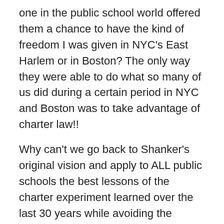one in the public school world offered them a chance to have the kind of freedom I was given in NYC's East Harlem or in Boston? The only way they were able to do what so many of us did during a certain period in NYC and Boston was to take advantage of charter law!!
Why can't we go back to Shanker's original vision and apply to ALL public schools the best lessons of the charter experiment learned over the last 30 years while avoiding the worst? Schools should be places which demonstrate that democracy and freedom needn't be enemies.
What better way to teach democracy to young people then by placing them in the midst of self-governing, community-based schools within publicly set rules of accountability and transparency?
So I've joined my friend Steve Zimmerman and support his